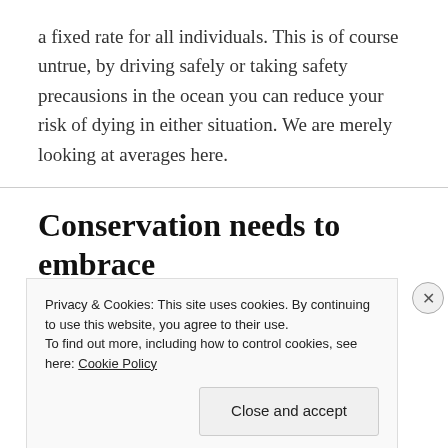a fixed rate for all individuals. This is of course untrue, by driving safely or taking safety precausions in the ocean you can reduce your risk of dying in either situation. We are merely looking at averages here.
Conservation needs to embrace
Privacy & Cookies: This site uses cookies. By continuing to use this website, you agree to their use.
To find out more, including how to control cookies, see here: Cookie Policy